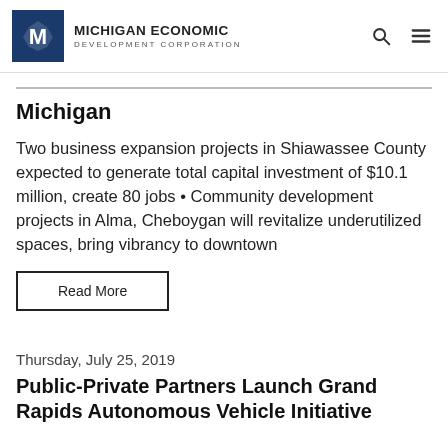Michigan Economic Development Corporation
Michigan
Two business expansion projects in Shiawassee County expected to generate total capital investment of $10.1 million, create 80 jobs • Community development projects in Alma, Cheboygan will revitalize underutilized spaces, bring vibrancy to downtown
Read More
Thursday, July 25, 2019
Public-Private Partners Launch Grand Rapids Autonomous Vehicle Initiative